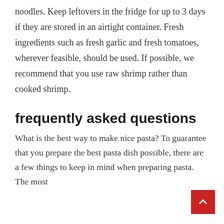noodles. Keep leftovers in the fridge for up to 3 days if they are stored in an airtight container. Fresh ingredients such as fresh garlic and fresh tomatoes, wherever feasible, should be used. If possible, we recommend that you use raw shrimp rather than cooked shrimp.
frequently asked questions
What is the best way to make nice pasta? To guarantee that you prepare the best pasta dish possible, there are a few things to keep in mind when preparing pasta. The most